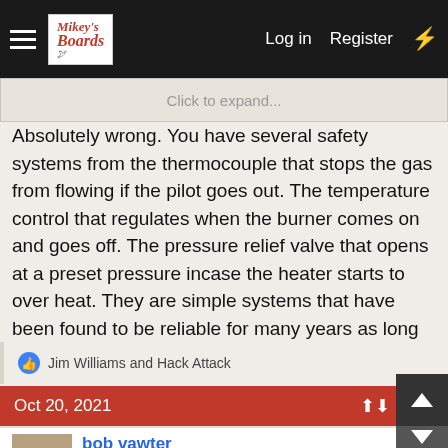Mikey's Boards | Log in | Register
Click to expand...
Absolutely wrong. You have several safety systems from the thermocouple that stops the gas from flowing if the pilot goes out. The temperature control that regulates when the burner comes on and goes off. The pressure relief valve that opens at a preset pressure incase the heater starts to over heat. They are simple systems that have been found to be reliable for many years as long as idiots don't tinker with them
Jim Williams and Hack Attack
Oct 20, 2021
bob vawter
Grassy Knoller